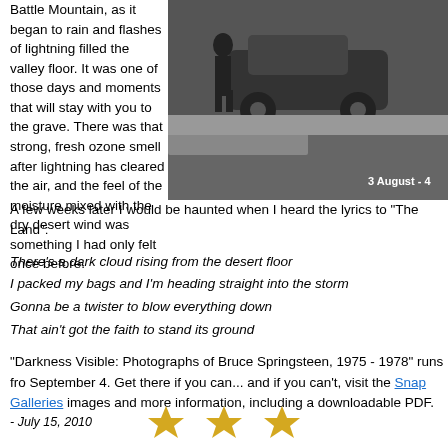Battle Mountain, as it began to rain and flashes of lightning filled the valley floor. It was one of those days and moments that will stay with you to the grave. There was that strong, fresh ozone smell after lightning has cleared the air, and the feel of the moisture mixed with the dry desert wind was something I had only felt once before.
[Figure (photo): Black and white photo of a person standing next to a car on a road. Text overlay reads '3 August - 4']
A few weeks later I would be haunted when I heard the lyrics to "The Land":
There's a dark cloud rising from the desert floor
I packed my bags and I'm heading straight into the storm
Gonna be a twister to blow everything down
That ain't got the faith to stand its ground
"Darkness Visible: Photographs of Bruce Springsteen, 1975 - 1978" runs from September 4. Get there if you can... and if you can't, visit the Snap Galleries images and more information, including a downloadable PDF.
- July 15, 2010
[Figure (illustration): Three gold/yellow star symbols]